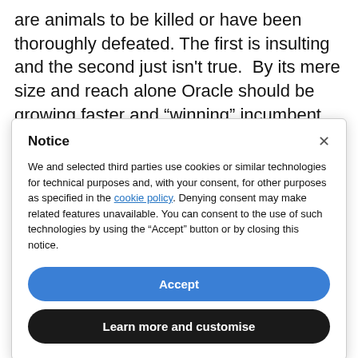are animals to be killed or have been thoroughly defeated. The first is insulting and the second just isn't true.  By its mere size and reach alone Oracle should be growing faster and “winning” incumbent
Notice
We and selected third parties use cookies or similar technologies for technical purposes and, with your consent, for other purposes as specified in the cookie policy. Denying consent may make related features unavailable. You can consent to the use of such technologies by using the “Accept” button or by closing this notice.
Accept
Learn more and customise